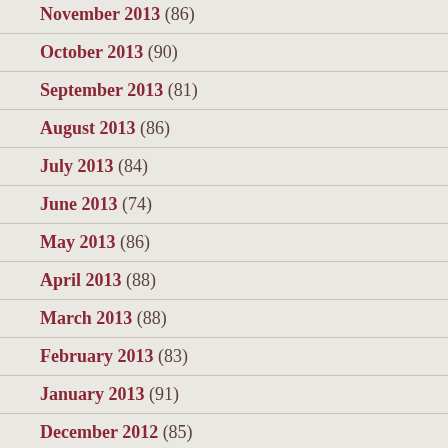November 2013 (86)
October 2013 (90)
September 2013 (81)
August 2013 (86)
July 2013 (84)
June 2013 (74)
May 2013 (86)
April 2013 (88)
March 2013 (88)
February 2013 (83)
January 2013 (91)
December 2012 (85)